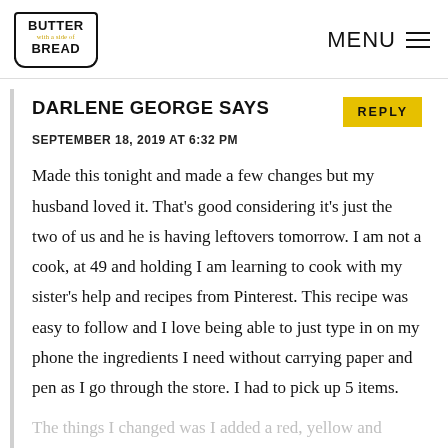BUTTER with a side of BREAD | MENU
DARLENE GEORGE SAYS
SEPTEMBER 18, 2019 AT 6:32 PM
Made this tonight and made a few changes but my husband loved it. That's good considering it's just the two of us and he is having leftovers tomorrow. I am not a cook, at 49 and holding I am learning to cook with my sister's help and recipes from Pinterest. This recipe was easy to follow and I love being able to just type in on my phone the ingredients I need without carrying paper and pen as I go through the store. I had to pick up 5 items.
The things I changed was I added a red, yellow and green pepper along with a jalapeno with my onion